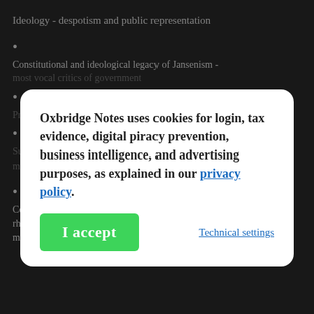Ideology - despotism and public representation
•
Constitutional and ideological legacy of Jansenism - most vocal critics of government
•
Promulgation of idea of despotism
•
Supported by parliament - became springboard for magisterial intervention in ecclesiastical matters
•
Conflict over secular and religious jurisdiction and rhetoric of tyranny removed mystique of divine right monarchy
Oxbridge Notes uses cookies for login, tax evidence, digital piracy prevention, business intelligence, and advertising purposes, as explained in our privacy policy.
I accept
Technical settings